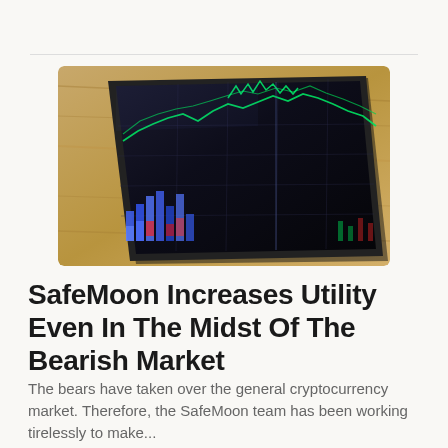[Figure (photo): Close-up photo of a tablet or screen displaying a dark cryptocurrency/stock trading chart with green candlestick lines and blue/red volume bars, placed on a wooden surface.]
SafeMoon Increases Utility Even In The Midst Of The Bearish Market
The bears have taken over the general cryptocurrency market. Therefore, the SafeMoon team has been working tirelessly to make...